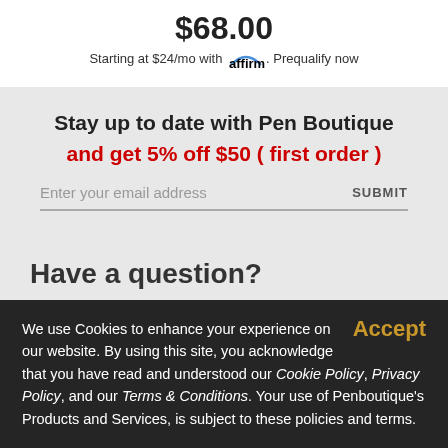$68.00
Starting at $24/mo with affirm. Prequalify now
Stay up to date with Pen Boutique
and get 5% off $50 ( first order )
Enter your email address
SUBMIT
Have a question?
We use Cookies to enhance your experience on our website. By using this site, you acknowledge that you have read and understood our Cookie Policy, Privacy Policy, and our Terms & Conditions. Your use of Penboutique’s Products and Services, is subject to these policies and terms.
Accept